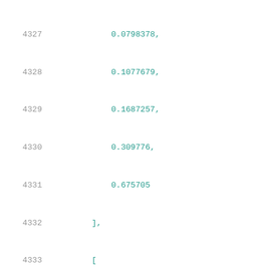4327    0.0798378,
4328    0.1077679,
4329    0.1687257,
4330    0.309776,
4331    0.675705
4332    ],
4333    [
4334    0.0599582,
4335    0.0661488,
4336    0.0793814,
4337    0.1082334,
4338    0.1686949,
4339    0.31022,
4340    0.6747784
4341    ],
4342    [
4343    0.0607645,
4344    0.0663228,
4345    0.0794604,
4346    0.1080328,
4347    0.1683802,
4348    ...